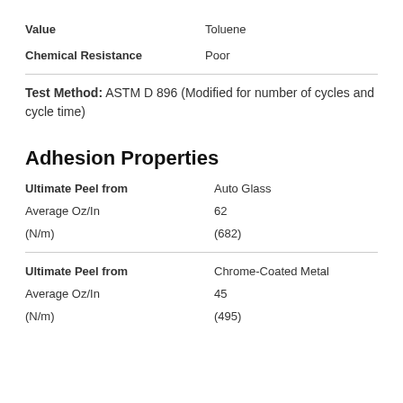| Property | Value |
| --- | --- |
| Value | Toluene |
| Chemical Resistance | Poor |
Test Method: ASTM D 896 (Modified for number of cycles and cycle time)
Adhesion Properties
| Property | Value |
| --- | --- |
| Ultimate Peel from | Auto Glass |
| Average Oz/In | 62 |
| (N/m) | (682) |
| Property | Value |
| --- | --- |
| Ultimate Peel from | Chrome-Coated Metal |
| Average Oz/In | 45 |
| (N/m) | (495) |